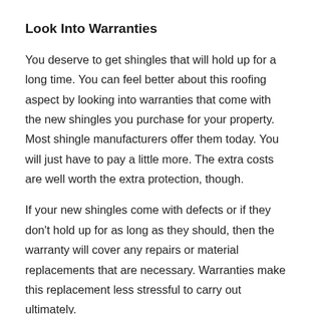Look Into Warranties
You deserve to get shingles that will hold up for a long time. You can feel better about this roofing aspect by looking into warranties that come with the new shingles you purchase for your property. Most shingle manufacturers offer them today. You will just have to pay a little more. The extra costs are well worth the extra protection, though.
If your new shingles come with defects or if they don't hold up for as long as they should, then the warranty will cover any repairs or material replacements that are necessary. Warranties make this replacement less stressful to carry out ultimately.